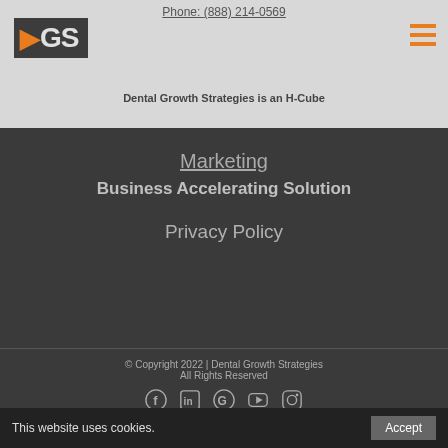Phone: (888) 214-0569
[Figure (logo): DGS - Dental Growth Strategies logo with orange arrow icon]
Dental Growth Strategies is an H-Cube
Marketing
Business Accelerating Solution
Privacy Policy
© Copyright 2022 | Dental Growth Strategies
All Rights Reserved
[Figure (infographic): Social media icons: Facebook, LinkedIn, Google, YouTube, Instagram]
Call
Book Appointment
This website uses cookies.  Accept